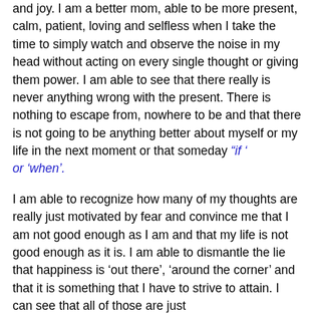and joy. I am a better mom, able to be more present, calm, patient, loving and selfless when I take the time to simply watch and observe the noise in my head without acting on every single thought or giving them power. I am able to see that there really is never anything wrong with the present. There is nothing to escape from, nowhere to be and that there is not going to be anything better about myself or my life in the next moment or that someday “if ‘ or ‘when’.
I am able to recognize how many of my thoughts are really just motivated by fear and convince me that I am not good enough as I am and that my life is not good enough as it is. I am able to dismantle the lie that happiness is ‘out there’, ‘around the corner’ and that it is something that I have to strive to attain. I can see that all of those are just